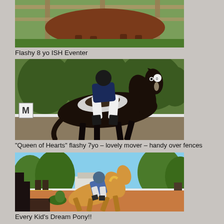[Figure (photo): Partially visible brown/chestnut horse standing near a wooden fence in a grassy outdoor area, only the body and legs visible (head cropped out). Top portion of the page.]
Flashy 8 yo ISH Eventer
[Figure (photo): Rider in white breeches and navy jacket on a dark bay horse performing dressage or flatwork in an outdoor arena with green trees in background. Letter M marker visible on the left.]
"Queen of Hearts" flashy 7yo – lovely mover – handy over fences
[Figure (photo): Young rider on a golden/palomino pony jumping over a fence in an outdoor show jumping arena with white buildings and trees in the background.]
Every Kid's Dream Pony!!